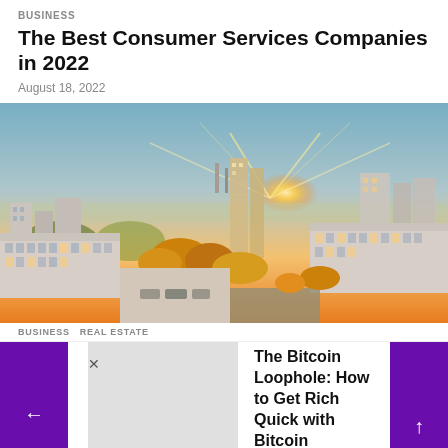BUSINESS
The Best Consumer Services Companies in 2022
August 18, 2022
[Figure (photo): Aerial drone photograph of a European city at sunset/golden hour. Buildings, trees with autumn foliage, and sunburst visible between tall residential blocks.]
BUSINESS  REAL ESTATE
[Figure (infographic): Advertisement banner with purple arrow navigation panels on left and right, a gray placeholder thumbnail image, and text reading 'The Bitcoin Loophole: How to Get Rich Quick with Bitcoin'. Has a close (x) button and up arrow navigation.]